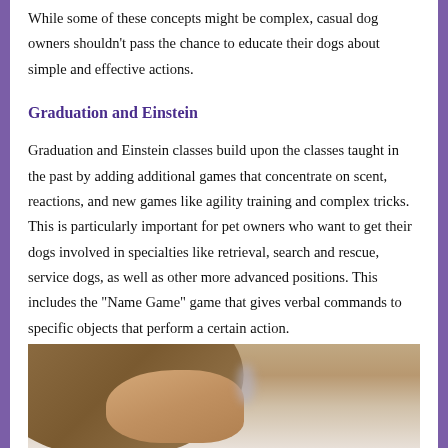While some of these concepts might be complex, casual dog owners shouldn't pass the chance to educate their dogs about simple and effective actions.
Graduation and Einstein
Graduation and Einstein classes build upon the classes taught in the past by adding additional games that concentrate on scent, reactions, and new games like agility training and complex tricks. This is particularly important for pet owners who want to get their dogs involved in specialties like retrieval, search and rescue, service dogs, as well as other more advanced positions. This includes the “Name Game” game that gives verbal commands to specific objects that perform a certain action.
[Figure (photo): Partial photograph of a person's face and hair, cropped at the bottom of the page. Shows the top of a person's head with light brown/blonde hair against a light background.]